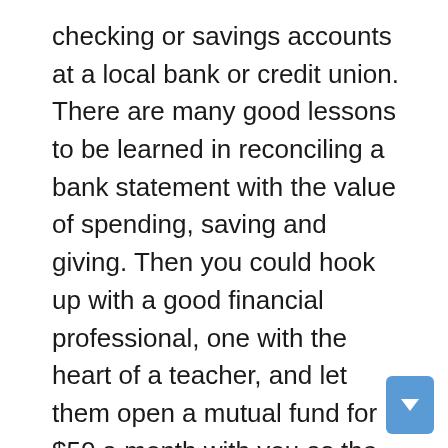checking or savings accounts at a local bank or credit union. There are many good lessons to be learned in reconciling a bank statement with the value of spending, saving and giving. Then you could hook up with a good financial professional, one with the heart of a teacher, and let them open a mutual fund for $50 a month with you as the custodian. He could learn about compound interest, how to calculate his stock value and other things, and all of that would be a good learning exercise as well.
We did these things with our children. But keep in mind that over the course of a year – and when you're 13, that's an eternity – there won't be much action on the investment side. It could be a